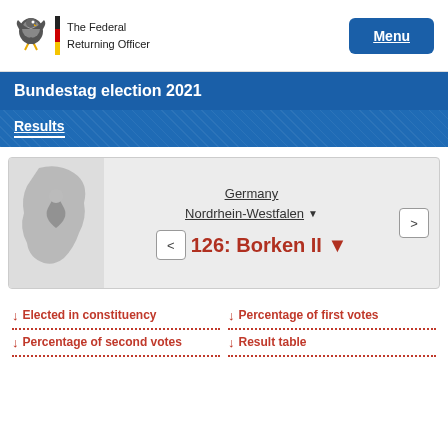The Federal Returning Officer
Bundestag election 2021
Results
Germany
Nordrhein-Westfalen
126: Borken II
Elected in constituency
Percentage of first votes
Percentage of second votes
Result table